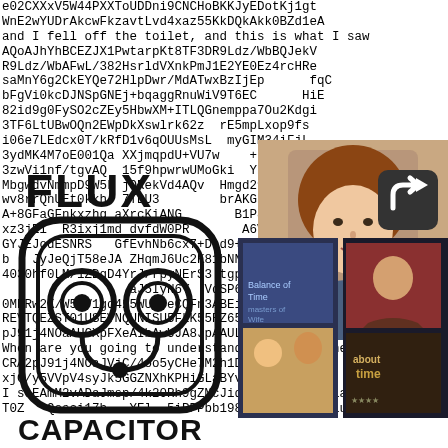Background noise text: e02CXXxV5W44PXXToUDDni9CNCHoBKKJyEDotKj1gt... (repeating base64-like scrambled text covering the full page)
[Figure (logo): Flux Capacitor logo: bold text 'FLUX' at top, large rounded-rectangle icon with two robot eyes and a nose forming a face/capacitor symbol, bold text 'CAPACITOR' at bottom, all in black on white/transparent background]
[Figure (photo): Photo of a woman (reddish-brown hair) in upper right area, partially overlapping the background text]
[Figure (photo): Collage of movie/TV stills in lower right: includes images labeled 'about time' and other films, overlapping background text]
[Figure (other): Share/forward arrow icon (dark rounded square with white arrow) overlaid on upper-right photo]
and I fell off the toilet, and this is what I saw
When are you going to understand, that why there's a reason